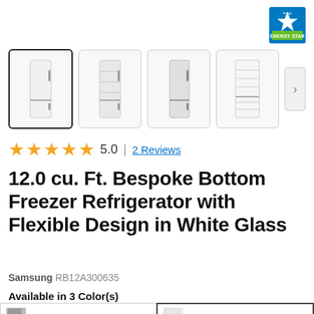[Figure (logo): Energy Star certification logo in blue and green]
[Figure (photo): Four product thumbnail images of the Samsung Bespoke Bottom Freezer Refrigerator in White Glass, shown from different angles, with navigation arrow]
5.0  |  2 Reviews
12.0 cu. Ft. Bespoke Bottom Freezer Refrigerator with Flexible Design in White Glass
Samsung RB12A300635
Available in 3 Color(s)
Grey Glass RB12A300631
White Glass RB12A300635